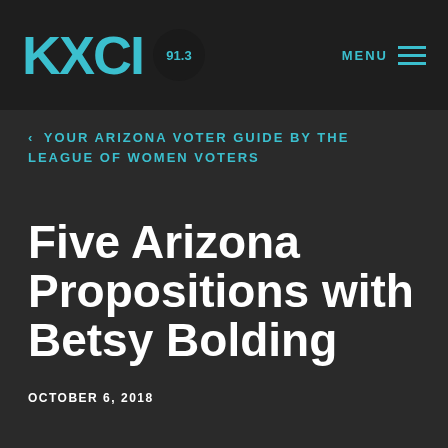[Figure (logo): KXCI 91.3 radio station logo in teal/cyan color with circular badge containing 91.3]
MENU
‹ YOUR ARIZONA VOTER GUIDE BY THE LEAGUE OF WOMEN VOTERS
Five Arizona Propositions with Betsy Bolding
OCTOBER 6, 2018